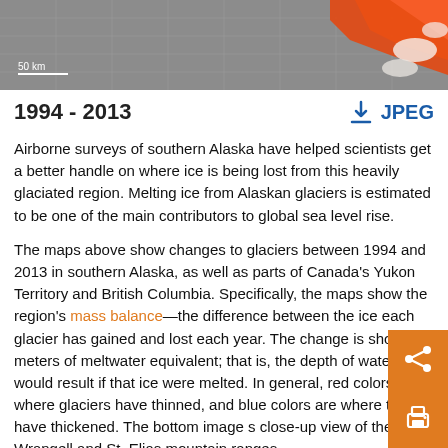[Figure (map): Satellite/airborne map of southern Alaska showing glacier mass balance changes 1994–2013, with gray background grid and orange/red region in top-right corner. Scale bar '50 km' shown in lower-left of map.]
1994 - 2013
Airborne surveys of southern Alaska have helped scientists get a better handle on where ice is being lost from this heavily glaciated region. Melting ice from Alaskan glaciers is estimated to be one of the main contributors to global sea level rise.
The maps above show changes to glaciers between 1994 and 2013 in southern Alaska, as well as parts of Canada's Yukon Territory and British Columbia. Specifically, the maps show the region's mass balance—the difference between the ice each glacier has gained and lost each year. The change is shown in meters of meltwater equivalent; that is, the depth of water that would result if that ice were melted. In general, red colors show where glaciers have thinned, and blue colors are where they have thickened. The bottom image s close-up view of the Wrangell and St. Elias mountain ranges.
Scientists estimated the mass balance from changes in the sur elevation of 116 glaciers, which were observed at roughly the s time every year with lidar instruments mounted on aircraft. The determined that the region lost about 75 billion tons of ice per year